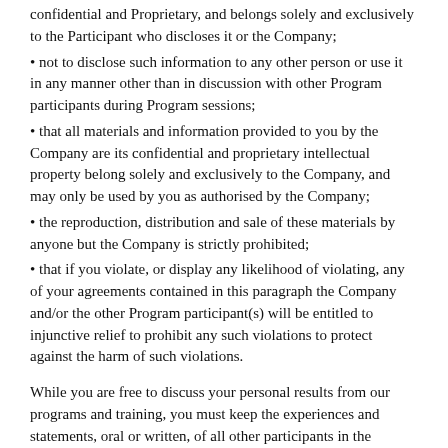confidential and Proprietary, and belongs solely and exclusively to the Participant who discloses it or the Company;
• not to disclose such information to any other person or use it in any manner other than in discussion with other Program participants during Program sessions;
• that all materials and information provided to you by the Company are its confidential and proprietary intellectual property belong solely and exclusively to the Company, and may only be used by you as authorised by the Company;
• the reproduction, distribution and sale of these materials by anyone but the Company is strictly prohibited;
• that if you violate, or display any likelihood of violating, any of your agreements contained in this paragraph the Company and/or the other Program participant(s) will be entitled to injunctive relief to prohibit any such violations to protect against the harm of such violations.
While you are free to discuss your personal results from our programs and training, you must keep the experiences and statements, oral or written, of all other participants in the strictest of confidence.